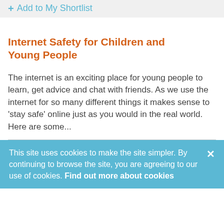+ Add to My Shortlist
Internet Safety for Children and Young People
The internet is an exciting place for young people to learn, get advice and chat with friends. As we use the internet for so many different things it makes sense to 'stay safe' online just as you would in the real world. Here are some...
This site uses cookies to make the site simpler. By continuing to browse the site, you are agreeing to our use of cookies. Find out more about cookies